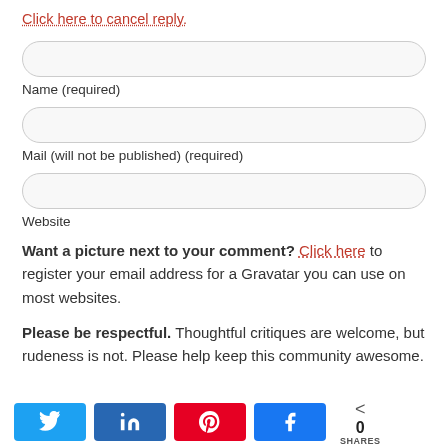Click here to cancel reply.
Name (required)
Mail (will not be published) (required)
Website
Want a picture next to your comment? Click here to register your email address for a Gravatar you can use on most websites.
Please be respectful. Thoughtful critiques are welcome, but rudeness is not. Please help keep this community awesome.
[Figure (infographic): Social sharing bar with Twitter, LinkedIn, Pinterest, and Facebook buttons, plus a share count of 0 SHARES]